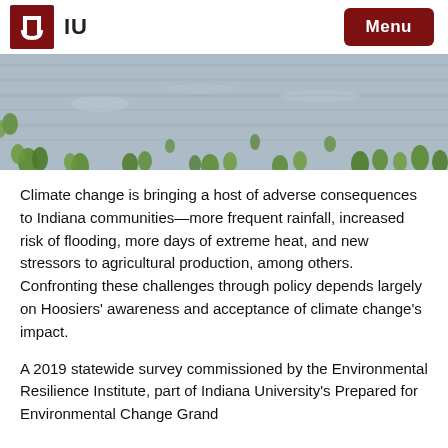IU | Menu
[Figure (photo): Flooded agricultural field with young green plants partially submerged in water]
Climate change is bringing a host of adverse consequences to Indiana communities—more frequent rainfall, increased risk of flooding, more days of extreme heat, and new stressors to agricultural production, among others. Confronting these challenges through policy depends largely on Hoosiers' awareness and acceptance of climate change's impact.
A 2019 statewide survey commissioned by the Environmental Resilience Institute, part of Indiana University's Prepared for Environmental Change Grand